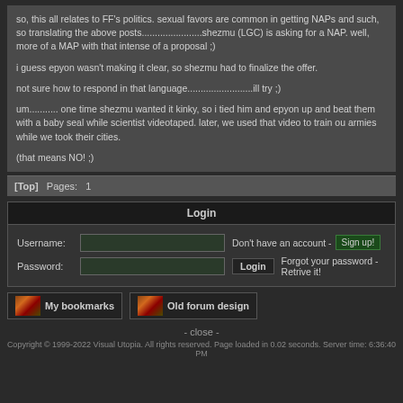so, this all relates to FF's politics. sexual favors are common in getting NAPs and such, so translating the above posts.......................shezmu (LGC) is asking for a NAP. well, more of a MAP with that intense of a proposal ;)

i guess epyon wasn't making it clear, so shezmu had to finalize the offer.

not sure how to respond in that language.........................ill try ;)

um........... one time shezmu wanted it kinky, so i tied him and epyon up and beat them with a baby seal while scientist videotaped. later, we used that video to train ou armies while we took their cities.

(that means NO! ;)
[Top]  Pages:  1
Login
Username:  Don't have an account -  Sign up!
Password:  Login  Forgot your password - Retrive it!
My bookmarks   Old forum design
- close -
Copyright © 1999-2022 Visual Utopia. All rights reserved. Page loaded in 0.02 seconds. Server time: 6:36:40 PM